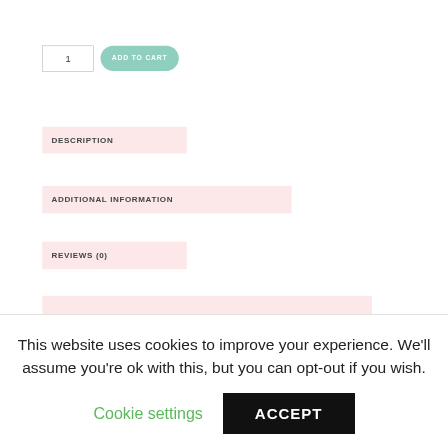1
ADD TO CART
DESCRIPTION
ADDITIONAL INFORMATION
REVIEWS (0)
This website uses cookies to improve your experience. We'll assume you're ok with this, but you can opt-out if you wish.
Cookie settings
ACCEPT